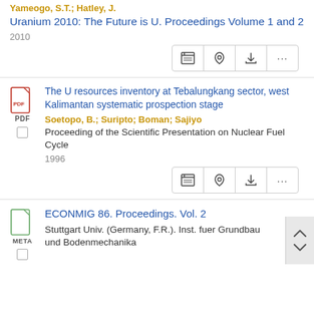Yameogo, S.T.; Hatley, J.
Uranium 2010: The Future is U. Proceedings Volume 1 and 2
2010
The U resources inventory at Tebalungkang sector, west Kalimantan systematic prospection stage
Soetopo, B.; Suripto; Boman; Sajiyo
Proceeding of the Scientific Presentation on Nuclear Fuel Cycle
1996
ECONMIG 86. Proceedings. Vol. 2
Stuttgart Univ. (Germany, F.R.). Inst. fuer Grundbau und Bodenmechanika